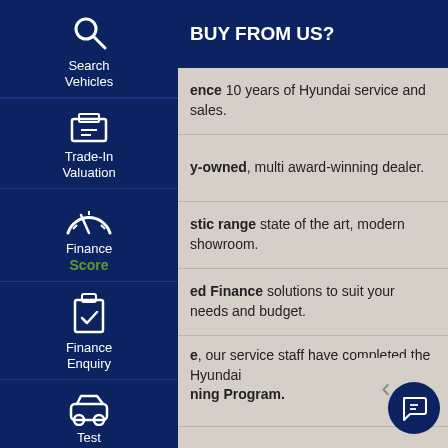[Figure (screenshot): Mobile app navigation sidebar with dark navy blue background showing icons and labels: Search Vehicles (magnifying glass), Trade-In Valuation (cash/register icon), Finance Score (speedometer icon with green 'Score' text), Finance Enquiry (clipboard with checkmark), Test Drive (car icon), Click To Buy (shopping cart icon)]
BUY FROM US?
ence 10 years of Hyundai service and sales.
y-owned, multi award-winning dealer.
stic range state of the art, modern showroom.
ed Finance solutions to suit your needs and budget.
e, our service staff have completed the Hyundai ning Program.